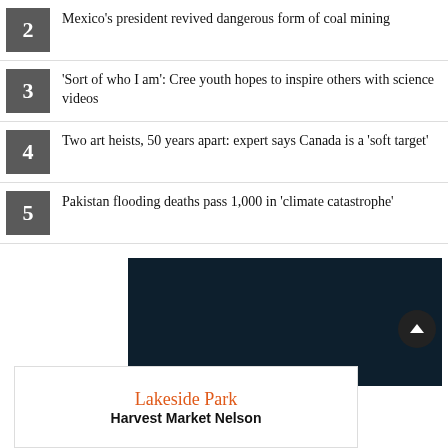2 Mexico's president revived dangerous form of coal mining
3 'Sort of who I am': Cree youth hopes to inspire others with science videos
4 Two art heists, 50 years apart: expert says Canada is a 'soft target'
5 Pakistan flooding deaths pass 1,000 in 'climate catastrophe'
[Figure (other): Dark navy/teal background block, likely a video player placeholder]
[Figure (other): Advertisement banner for Lakeside Park Harvest Market Nelson with decorative produce imagery]